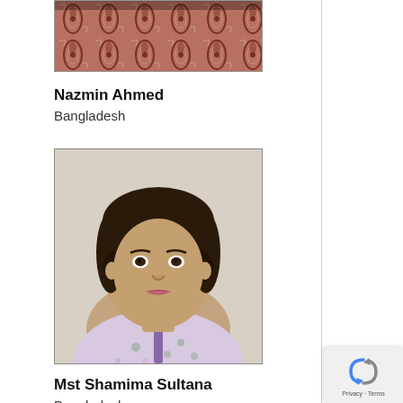[Figure (photo): Top portion of a fabric/textile with decorative dark paisley pattern on brownish-red background, partially visible at top of page]
Nazmin Ahmed
Bangladesh
[Figure (photo): Portrait photo of a woman (Mst Shamima Sultana) with dark hair pulled back, wearing a light purple floral top, against a light beige background]
Mst Shamima Sultana
Bangladesh